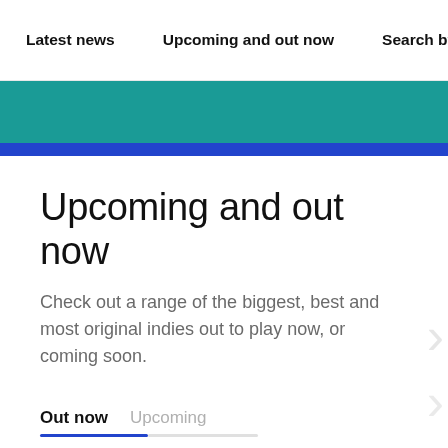Latest news   Upcoming and out now   Search by genre
[Figure (other): Teal and dark blue horizontal banner bands]
Upcoming and out now
Check out a range of the biggest, best and most original indies out to play now, or coming soon.
Out now
Upcoming